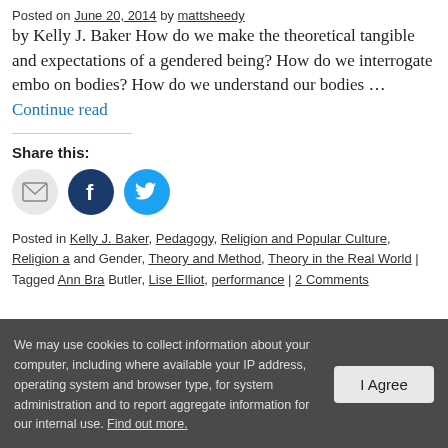Posted on June 20, 2014 by mattsheedy
by Kelly J. Baker How do we make the theoretical tangible and expectations of a gendered being? How do we interrogate embodied on bodies? How do we understand our bodies … Continue reading
Share this:
[Figure (illustration): Three social sharing icons: email (grey circle), Facebook (dark blue circle with f), Twitter (light blue circle with bird)]
Posted in Kelly J. Baker, Pedagogy, Religion and Popular Culture, Religion and Gender, Theory and Method, Theory in the Real World | Tagged Ann Bra... Butler, Lise Elliot, performance | 2 Comments
We may use cookies to collect information about your computer, including where available your IP address, operating system and browser type, for system administration and to report aggregate information for our internal use. Find out more.